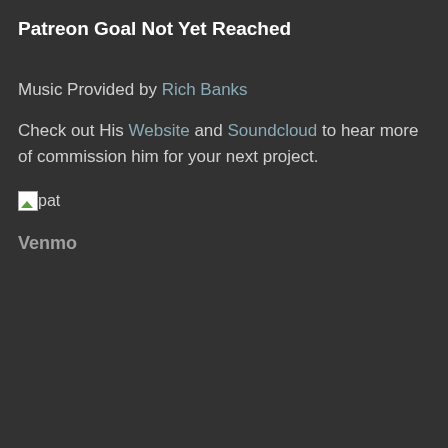Patreon Goal Not Yet Reached
Music Provided by Rich Banks
Check out His Website and Soundcloud to hear more of commission him for your next project.
[Figure (other): Broken image icon with alt text 'pat']
Venmo